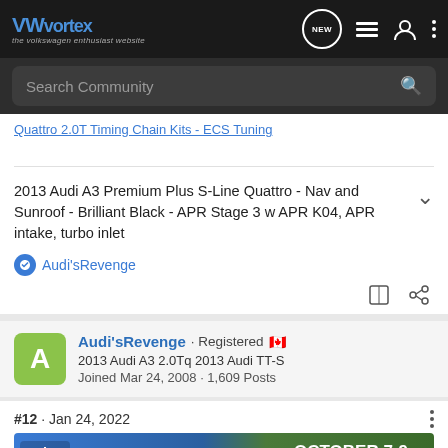VWvortex - the volkswagen enthusiast website
Search Community
Quattro 2.0T Timing Chain Kits - ECS Tuning
2013 Audi A3 Premium Plus S-Line Quattro - Nav and Sunroof - Brilliant Black - APR Stage 3 w APR K04, APR intake, turbo inlet
Audi'sRevenge
Audi'sRevenge · Registered 🇨🇦
2013 Audi A3 2.0Tq 2013 Audi TT-S
Joined Mar 24, 2008 · 1,609 Posts
#12 · Jan 24, 2022
[Figure (infographic): Overland Expo East 2022 advertisement banner. October 7-9, Arrington, VA. Plan Your Adventure button.]
strang